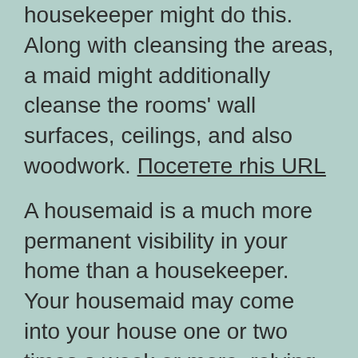housekeeper might do this. Along with cleansing the areas, a maid might additionally cleanse the rooms' wall surfaces, ceilings, and also woodwork. Посетете rhis URL
A housemaid is a much more permanent visibility in your home than a housekeeper. Your housemaid may come into your house one or two times a week or more, relying on your needs. House cleaners usually help a specific schedule, and they may require their own materials. Depending upon the time of day and regularity of gos to, you can select in